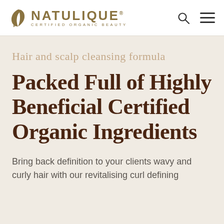NATULIQUE CERTIFIED ORGANIC BEAUTY
Hair and scalp cleansing formula
Packed Full of Highly Beneficial Certified Organic Ingredients
Bring back definition to your clients wavy and curly hair with our revitalising curl defining